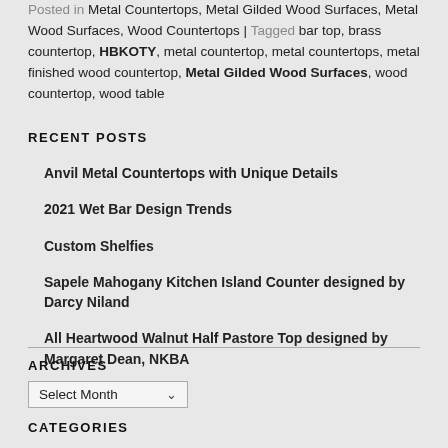Posted in: Metal Countertops, Metal Gilded Wood Surfaces, Metal Wood Surfaces, Wood Countertops | Tagged bar top, brass countertop, HBKOTY, metal countertop, metal countertops, metal finished wood countertop, Metal Gilded Wood Surfaces, wood countertop, wood table
RECENT POSTS
Anvil Metal Countertops with Unique Details
2021 Wet Bar Design Trends
Custom Shelfies
Sapele Mahogany Kitchen Island Counter designed by Darcy Niland
All Heartwood Walnut Half Pastore Top designed by Margaret Dean, NKBA
ARCHIVES
Select Month
CATEGORIES